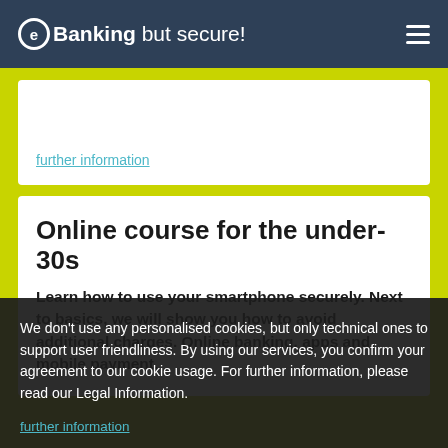eBanking but secure!
further information
Online course for the under-30s
Learn how to use your smartphone securely. Next to basics, we will show you how to avoid additional charges. Online banking, apps and mobile payment.
We don't use any personalised cookies, but only technical ones to support user friendliness. By using our services, you confirm your agreement to our cookie usage. For further information, please read our Legal Information.
further information
OK